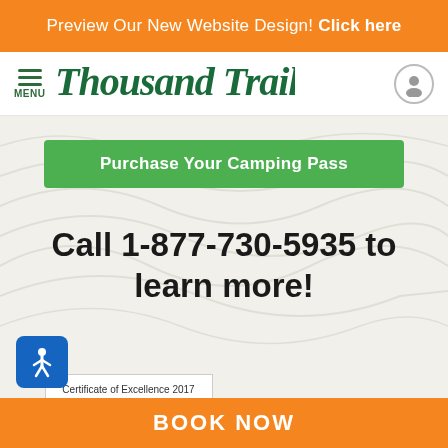Preview Our New Website Design! Click here
[Figure (logo): Thousand Trails logo with menu icon and user icon]
Purchase Your Camping Pass
Call 1-877-730-5935 to learn more!
[Figure (logo): TripAdvisor Certificate of Excellence 2017 badge with Read Reviews link]
[Figure (logo): ARVC Plan-It Green Friendly Park badge]
BOOK NOW